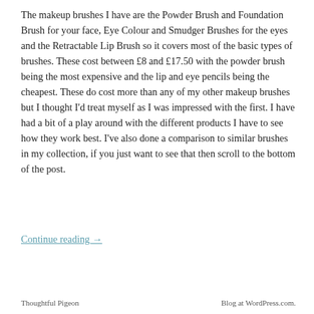The makeup brushes I have are the Powder Brush and Foundation Brush for your face, Eye Colour and Smudger Brushes for the eyes and the Retractable Lip Brush so it covers most of the basic types of brushes. These cost between £8 and £17.50 with the powder brush being the most expensive and the lip and eye pencils being the cheapest. These do cost more than any of my other makeup brushes but I thought I'd treat myself as I was impressed with the first. I have had a bit of a play around with the different products I have to see how they work best. I've also done a comparison to similar brushes in my collection, if you just want to see that then scroll to the bottom of the post.
Continue reading →
Thoughtful Pigeon   Blog at WordPress.com.